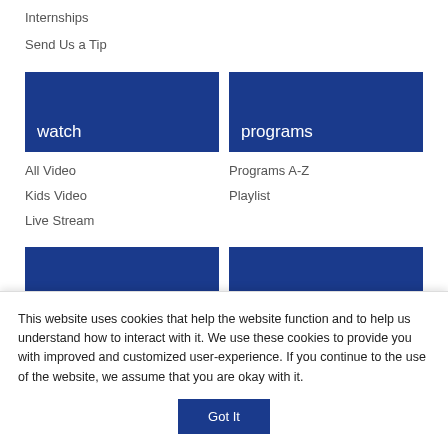Internships
Send Us a Tip
[Figure (screenshot): Blue banner card labeled 'watch']
All Video
Kids Video
Live Stream
[Figure (screenshot): Blue banner card labeled 'programs']
Programs A-Z
Playlist
[Figure (screenshot): Two partial blue banner cards at bottom]
This website uses cookies that help the website function and to help us understand how to interact with it. We use these cookies to provide you with improved and customized user-experience. If you continue to the use of the website, we assume that you are okay with it.
Got It